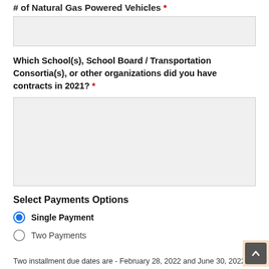# of Natural Gas Powered Vehicles *
[text input box]
Which School(s), School Board / Transportation Consortia(s), or other organizations did you have contracts in 2021? *
[textarea input box]
Select Payments Options
Single Payment
Two Payments
Two installment due dates are - February 28, 2022 and June 30, 2022.